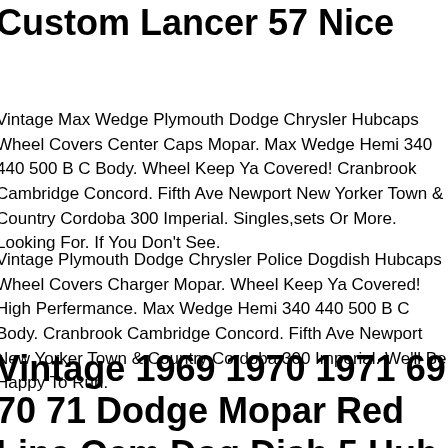Custom Lancer 57 Nice
Vintage Max Wedge Plymouth Dodge Chrysler Hubcaps Wheel Covers Center Caps Mopar. Max Wedge Hemi 340 440 500 B C Body. Wheel Keep Ya Covered! Cranbrook Cambridge Concord. Fifth Ave Newport New Yorker Town & Country Cordoba 300 Imperial. Singles,sets Or More. Looking For. If You Don't See.
Vintage Plymouth Dodge Chrysler Police Dogdish Hubcaps Wheel Covers Charger Mopar. Wheel Keep Ya Covered! High Perfermance. Max Wedge Hemi 340 440 500 B C Body. Cranbrook Cambridge Concord. Fifth Ave Newport New Yorker Town & Country Cordoba 300 Imperial. We'll Be Happy To Run.
Vintage 1969 1970 1971 69 70 71 Dodge Mopar Red Line Oem Dog Dish 5 Hub Cap Set